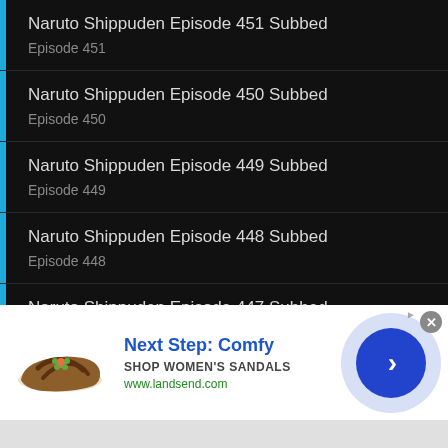Naruto Shippuden Episode 451 Subbed
Episode 451
Naruto Shippuden Episode 450 Subbed
Episode 450
Naruto Shippuden Episode 449 Subbed
Episode 449
Naruto Shippuden Episode 448 Subbed
Episode 448
Naruto Shippuden Episode 447 Subbed
Episode 447
Naruto Shippuden Episode 446 Subbed (partially visible)
[Figure (screenshot): Advertisement banner for Lands End sandals: 'Next Step: Comfy - SHOP WOMEN'S SANDALS - www.landsend.com' with shoe image and blue circle arrow button on right.]